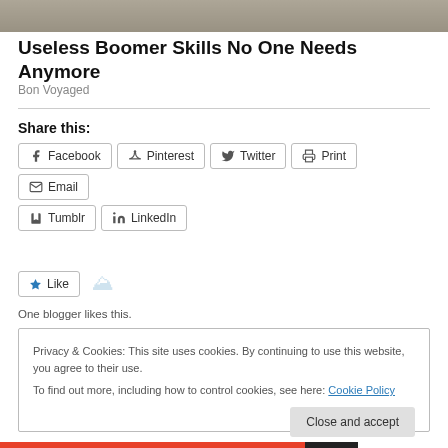[Figure (photo): Grayscale photo strip at top of page]
Useless Boomer Skills No One Needs Anymore
Bon Voyaged
Share this:
Facebook
Pinterest
Twitter
Print
Email
Tumblr
LinkedIn
One blogger likes this.
Privacy & Cookies: This site uses cookies. By continuing to use this website, you agree to their use.
To find out more, including how to control cookies, see here: Cookie Policy